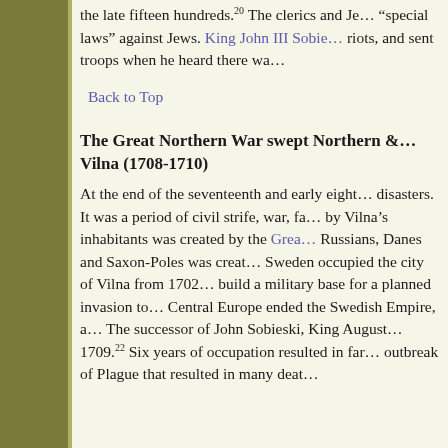the late fifteen hundreds.20 The clerics and Je... "special laws" against Jews. King John III Sobie... riots, and sent troops when he heard there wa...
Back to Top
The Great Northern War swept Northern & Vilna (1708-1710)
At the end of the seventeenth and early eight... disasters. It was a period of civil strife, war, fa... by Vilna's inhabitants was created by the Grea... Russians, Danes and Saxon-Poles was creat... Sweden occupied the city of Vilna from 1702... build a military base for a planned invasion to... Central Europe ended the Swedish Empire, a... The successor of John Sobieski, King August... 1709.22 Six years of occupation resulted in far... outbreak of Plague that resulted in many deat...